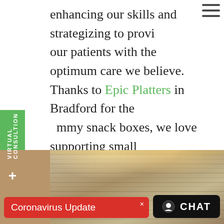enhancing our skills and strategizing to provide our patients with the optimum care we believe. Thanks to Epic Platters in Bradford for the yummy snack boxes, we love supporting small businesses and the community. Also thanks to our patients for trusting us with their smiles! Connect with us on Facebook and Instagram!
[Figure (photo): Interior photo of a dental office lobby showing a lit stone/brick accent wall with warm spotlights and warm-toned walls]
Coronavirus Update
CHAT